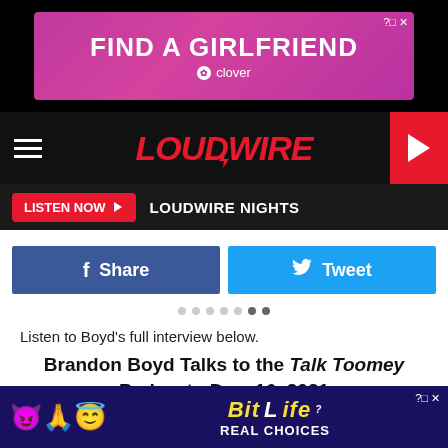[Figure (screenshot): Advertisement banner for 'Find a Girlfriend' by Clover app with pink/purple gradient background]
[Figure (logo): Loudwire navigation bar with logo, hamburger menu, and play button]
LISTEN NOW  LOUDWIRE NIGHTS
Share   Tweet
Listen to Boyd's full interview below.
Brandon Boyd Talks to the Talk Toomey Podcast - Dec. 16, 2021
[Figure (screenshot): Podcast player card showing Talk Toomey Presented By Kno... - Brandon Boyd (Incubus)]
[Figure (screenshot): BitLife Real Choices advertisement banner at bottom]